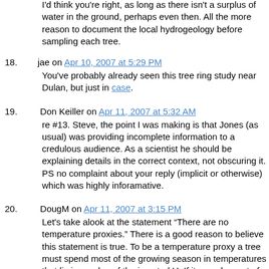I'd think you're right, as long as there isn't a surplus of water in the ground, perhaps even then. All the more reason to document the local hydrogeology before sampling each tree.
18. jae on Apr 10, 2007 at 5:29 PM
You've probably already seen this tree ring study near Dulan, but just in case.
19. Don Keiller on Apr 11, 2007 at 5:32 AM
re #13. Steve, the point I was making is that Jones (as usual) was providing incomplete information to a credulous audience. As a scientist he should be explaining details in the correct context, not obscuring it.
PS no complaint about your reply (implicit or otherwise) which was highly inforamative.
20. DougM on Apr 11, 2007 at 3:15 PM
Let's take alook at the statement “There are no temperature proxies.” There is a good reason to believe this statement is true. To be a temperature proxy a tree must spend most of the growing season in temperatures that lie in one leg of the inverted U. If it spends most of the growing season in the flat part of the U, what little effect the temperature has on growth will be lost in the noise from other growth factors.
Unfortunately, being in a leg of its temperature response most of the time greatly reduces its growth, and thus it will loose